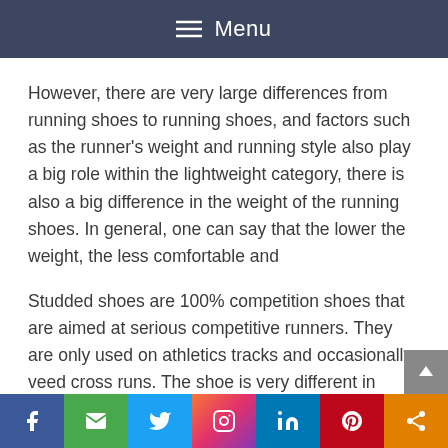Menu
However, there are very large differences from running shoes to running shoes, and factors such as the runner's weight and running style also play a big role within the lightweight category, there is also a big difference in the weight of the running shoes. In general, one can say that the lower the weight, the less comfortable and
Studded shoes are 100% competition shoes that are aimed at serious competitive runners. They are only used on athletics tracks and occasionally veed cross runs. The shoe is very different in construction depending on whether it
Social share bar: Facebook, Email, Twitter, Instagram, LinkedIn, Pinterest, Share